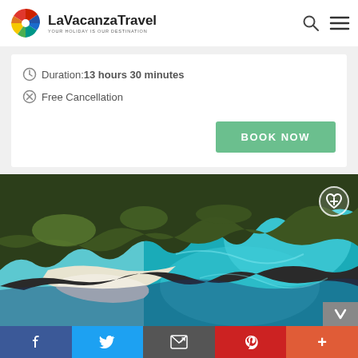[Figure (logo): LaVacanzaTravel logo with colorful pinwheel icon and text 'YOUR HOLIDAY IS OUR DESTINATION']
Duration:13 hours 30 minutes
Free Cancellation
BOOK NOW
[Figure (photo): Aerial view of rocky coastal landscape with turquoise water and white sandy patches, with a heart/plus icon overlay in top right]
f  [Twitter]  [Email]  [Pinterest]  +